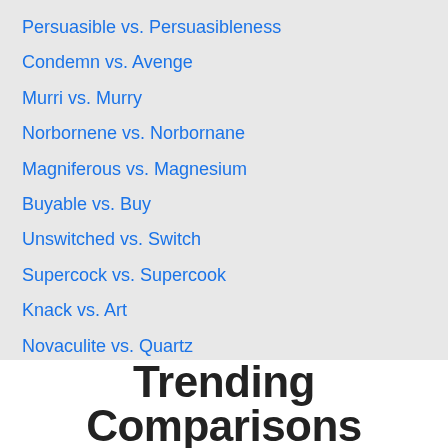Persuasible vs. Persuasibleness
Condemn vs. Avenge
Murri vs. Murry
Norbornene vs. Norbornane
Magniferous vs. Magnesium
Buyable vs. Buy
Unswitched vs. Switch
Supercock vs. Supercook
Knack vs. Art
Novaculite vs. Quartz
Trending Comparisons